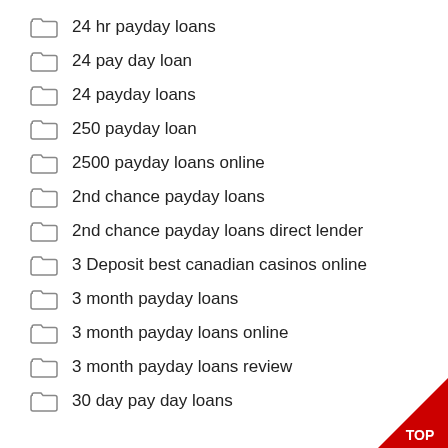24 hr payday loans
24 pay day loan
24 payday loans
250 payday loan
2500 payday loans online
2nd chance payday loans
2nd chance payday loans direct lender
3 Deposit best canadian casinos online
3 month payday loans
3 month payday loans online
3 month payday loans review
30 day pay day loans